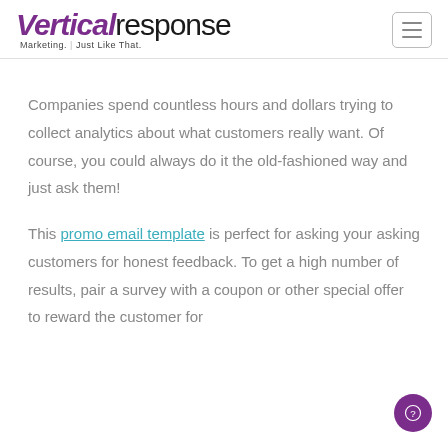VerticalResponse – Marketing. Just Like That.
Companies spend countless hours and dollars trying to collect analytics about what customers really want. Of course, you could always do it the old-fashioned way and just ask them!
This promo email template is perfect for asking your asking customers for honest feedback. To get a high number of results, pair a survey with a coupon or other special offer to reward the customer for